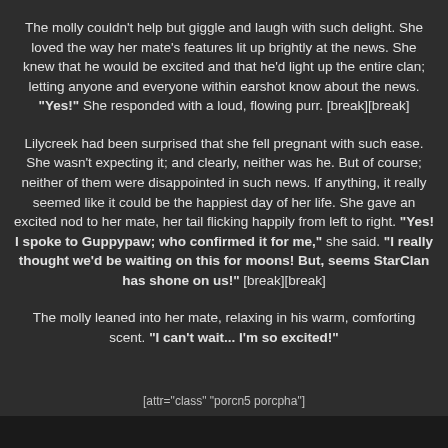The molly couldn't help but giggle and laugh with such delight. She loved the way her mate's features lit up brightly at the news. She knew that he would be excited and that he'd light up the entire clan; letting anyone and everyone within earshot know about the news. "Yes!" She responded with a loud, flowing purr. [break][break]
Lilycreek had been surprised that she fell pregnant with such ease. She wasn't expecting it; and clearly, neither was he. But of course; neither of them were disappointed in such news. If anything, it really seemed like it could be the happiest day of her life. She gave an excited nod to her mate, her tail flicking happily from left to right. "Yes! I spoke to Guppypaw; who confirmed it for me," she said. "I really thought we'd be waiting on this for moons! But, seems StarClan has shone on us!" [break][break]
The molly leaned into her mate, relaxing in his warm, comforting scent. "I can't wait... I'm so excited!"
[attr="class" "porcn5 porcpha"]